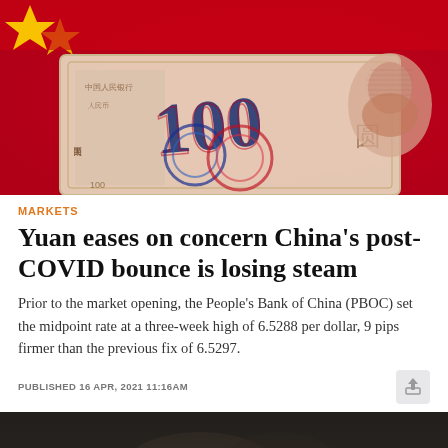[Figure (photo): Close-up photo of a Chinese 100 yuan banknote with a Chinese flag (red with yellow star) in the background]
MARKETS
Yuan eases on concern China's post-COVID bounce is losing steam
Prior to the market opening, the People's Bank of China (PBOC) set the midpoint rate at a three-week high of 6.5288 per dollar, 9 pips firmer than the previous fix of 6.5297.
PUBLISHED 16 APR, 2021 11:16AM
[Figure (photo): Partial bottom image, dark, appears to show hands or figures, cut off at bottom of page]